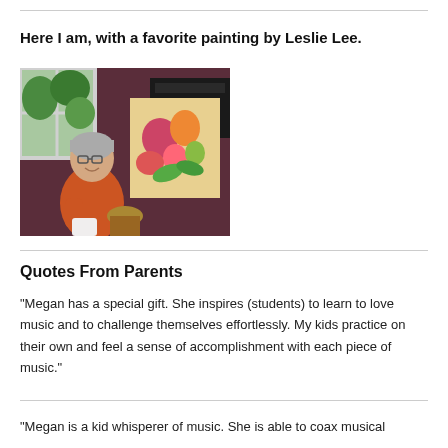Here I am, with a favorite painting by Leslie Lee.
[Figure (photo): A woman with glasses and short gray hair wearing an orange shirt smiling beside a colorful floral painting on an easel, with a piano and greenery visible in the background.]
Quotes From Parents
"Megan has a special gift. She inspires (students) to learn to love music and to challenge themselves effortlessly. My kids practice on their own and feel a sense of accomplishment with each piece of music."
"Megan is a kid whisperer of music. She is able to coax musical